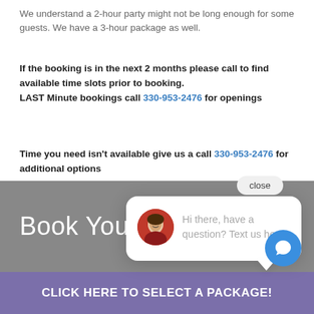We understand a 2-hour party might not be long enough for some guests. We have a 3-hour package as well.
If the booking is in the next 2 months please call to find available time slots prior to booking. LAST Minute bookings call 330-953-2476 for openings
Time you need isn't available give us a call 330-953-2476 for additional options
close
[Figure (screenshot): Chat popup with avatar photo of a woman and text: Hi there, have a question? Text us here.]
Book Your Party Here!
CLICK HERE TO SELECT A PACKAGE!